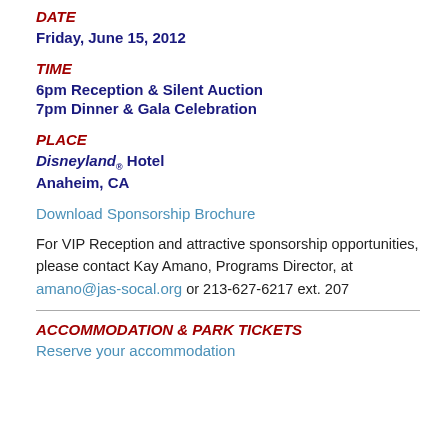DATE
Friday, June 15, 2012
TIME
6pm Reception & Silent Auction
7pm Dinner & Gala Celebration
PLACE
Disneyland® Hotel
Anaheim, CA
Download Sponsorship Brochure
For VIP Reception and attractive sponsorship opportunities, please contact Kay Amano, Programs Director, at amano@jas-socal.org or 213-627-6217 ext. 207
ACCOMMODATION & PARK TICKETS
Reserve your accommodation